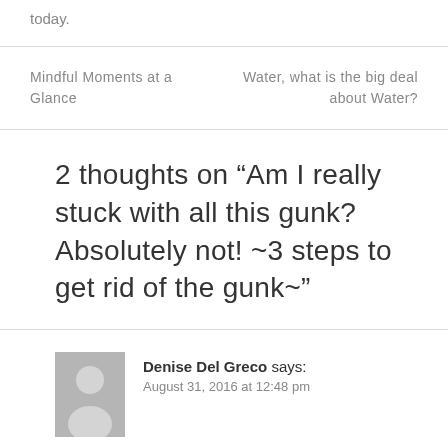today.
Mindful Moments at a Glance
Water, what is the big deal about Water?
2 thoughts on “Am I really stuck with all this gunk? Absolutely not! ~3 steps to get rid of the gunk~”
Denise Del Greco says: August 31, 2016 at 12:48 pm